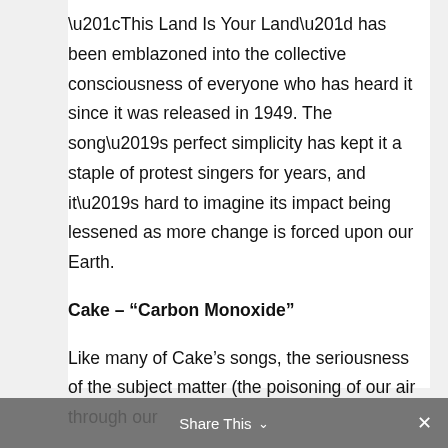“This Land Is Your Land” has been emblazoned into the collective consciousness of everyone who has heard it since it was released in 1949. The song’s perfect simplicity has kept it a staple of protest singers for years, and it’s hard to imagine its impact being lessened as more change is forced upon our Earth.
Cake – “Carbon Monoxide”
Like many of Cake’s songs, the seriousness of the subject matter (the poisoning of our air through our
Share This